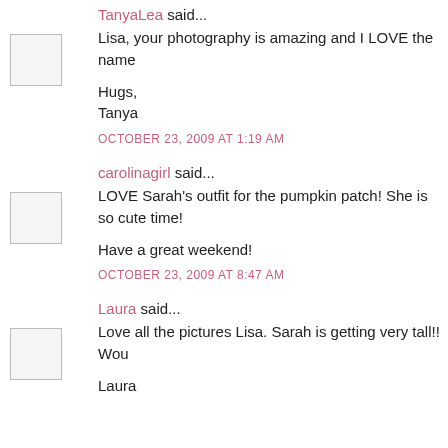TanyaLea said... Lisa, your photography is amazing and I LOVE the name

Hugs,
Tanya

OCTOBER 23, 2009 AT 1:19 AM
carolinagirl said... LOVE Sarah's outfit for the pumpkin patch! She is so cute time!

Have a great weekend!

OCTOBER 23, 2009 AT 8:47 AM
Laura said... Love all the pictures Lisa. Sarah is getting very tall!! Wou

Laura